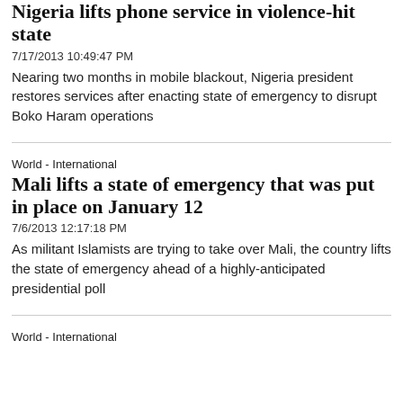Nigeria lifts phone service in violence-hit state
7/17/2013 10:49:47 PM
Nearing two months in mobile blackout, Nigeria president restores services after enacting state of emergency to disrupt Boko Haram operations
World - International
Mali lifts a state of emergency that was put in place on January 12
7/6/2013 12:17:18 PM
As militant Islamists are trying to take over Mali, the country lifts the state of emergency ahead of a highly-anticipated presidential poll
World - International